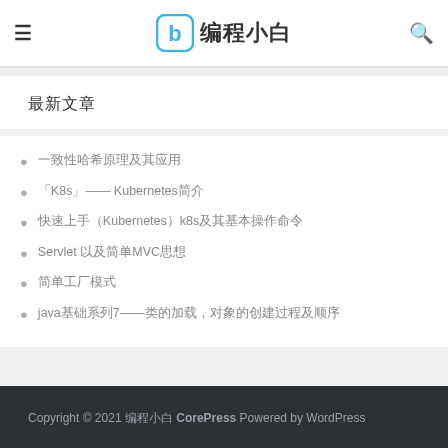编程小白
最新文章
一致性哈希原理及其应用
「K8s」—— Kubernetes简介
快速上手（Kubernetes）k8s及其基本操作命令
Servlet 以及简单MVC思想
简单工厂模式
java基础系列7——类的加载，对象的创建过程及顺序
Copyright © 2021 编程小白 CorePress Powered by WordPress